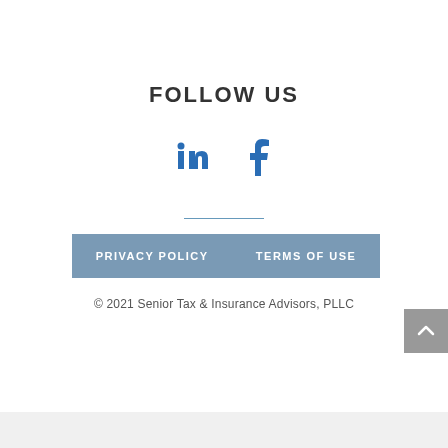FOLLOW US
[Figure (illustration): LinkedIn and Facebook social media icons in blue]
PRIVACY POLICY    TERMS OF USE
© 2021 Senior Tax & Insurance Advisors, PLLC